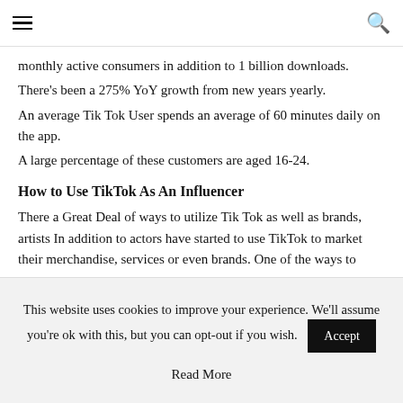≡  🔍
monthly active consumers in addition to 1 billion downloads.
There's been a 275% YoY growth from new years yearly.
An average Tik Tok User spends an average of 60 minutes daily on the app.
A large percentage of these customers are aged 16-24.
How to Use TikTok As An Influencer
There a Great Deal of ways to utilize Tik Tok as well as brands, artists In addition to actors have started to use TikTok to market their merchandise, services or even brands. One of the ways to
This website uses cookies to improve your experience. We'll assume you're ok with this, but you can opt-out if you wish.
Read More